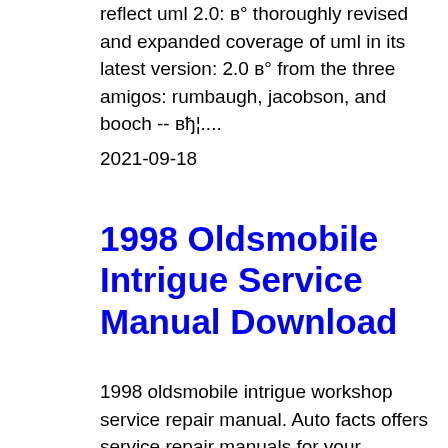reflect uml 2.0: в° thoroughly revised and expanded coverage of uml in its latest version: 2.0 в° from the three amigos: rumbaugh, jacobson, and booch -- вђ¦....
2021-09-18
1998 Oldsmobile Intrigue Service Manual Download
1998 oldsmobile intrigue workshop service repair manual. Auto facts offers service repair manuals for your oldsmobile intrigue - download your